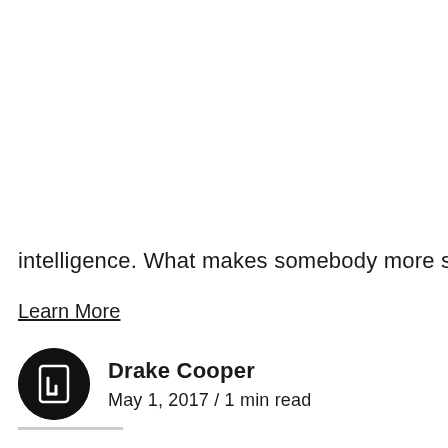intelligence. What makes somebody more successful
Learn More
[Figure (logo): Circular black avatar with a stylized white bracket/document icon (Drake Cooper logo)]
Drake Cooper
May 1, 2017 / 1 min read